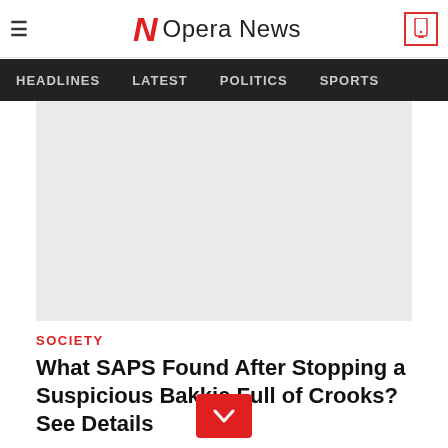≡  N Opera News  [phone icon]
HEADLINES  LATEST  POLITICS  SPORTS
[Figure (photo): Large grey placeholder image for article]
SOCIETY
What SAPS Found After Stopping a Suspicious Bakkie Full of Crooks? See Details